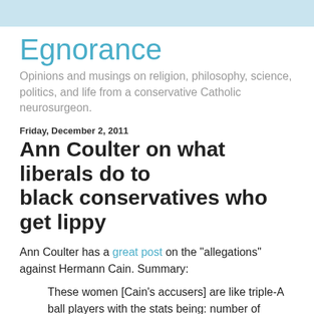Egnorance
Opinions and musings on religion, philosophy, science, politics, and life from a conservative Catholic neurosurgeon.
Friday, December 2, 2011
Ann Coulter on what liberals do to black conservatives who get lippy
Ann Coulter has a great post on the "allegations" against Hermann Cain. Summary:
These women [Cain's accusers] are like triple-A ball players with the stats being: number of bankruptcies, smallest bank account, number of liens, most false claims, number of children out of wedlock, degrees of separation from David Axelrod, total trips to human resources and so on.